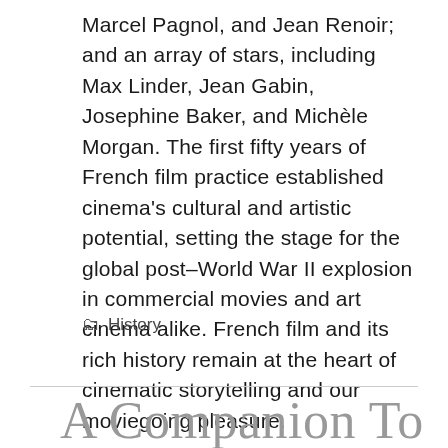Marcel Pagnol, and Jean Renoir; and an array of stars, including Max Linder, Jean Gabin, Josephine Baker, and Michèle Morgan. The first fifty years of French film practice established cinema's cultural and artistic potential, setting the stage for the global post–World War II explosion in commercial movies and art cinema alike. French film and its rich history remain at the heart of cinematic storytelling and our moviegoing pleasure.
🗂 History
A Companion To